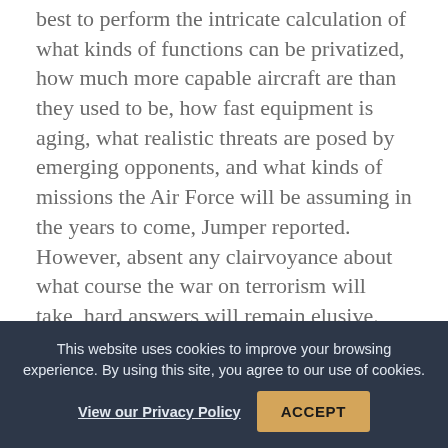best to perform the intricate calculation of what kinds of functions can be privatized, how much more capable aircraft are than they used to be, how fast equipment is aging, what realistic threats are posed by emerging opponents, and what kinds of missions the Air Force will be assuming in the years to come, Jumper reported. However, absent any clairvoyance about what course the war on terrorism will take, hard answers will remain elusive.
The Manning Issue
This website uses cookies to improve your browsing experience. By using this site, you agree to our use of cookies. View our Privacy Policy